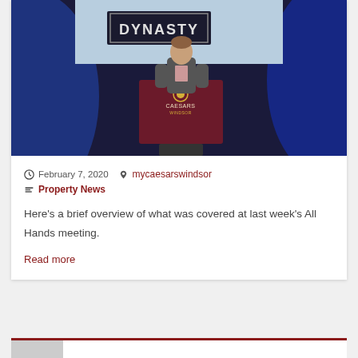[Figure (photo): A man in a suit speaking at a podium labeled 'Caesars Windsor' at an event with a 'DYNASTY' sign projected on a screen behind him. The stage has blue lighting.]
February 7, 2020   mycaesarswindsor
Property News
Here's a brief overview of what was covered at last week's All Hands meeting.
Read more